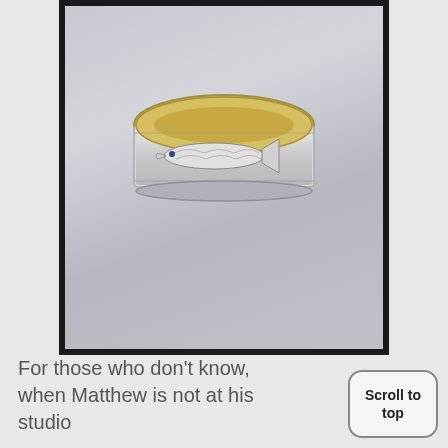[Figure (photo): A silver and gold ring with a fish design etched around the band, photographed on a light gray background. The ring has a gold interior and a silver exterior with a detailed fish motif.]
For those who don't know, when Matthew is not at his studio